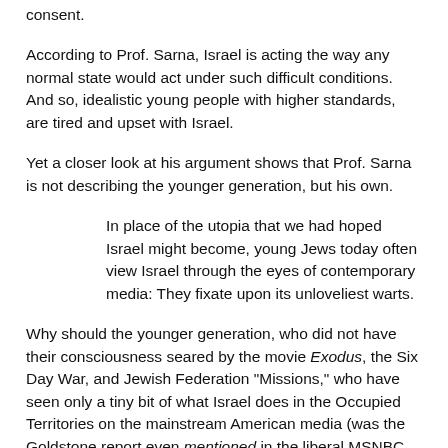consent.
According to Prof. Sarna, Israel is acting the way any normal state would act under such difficult conditions. And so, idealistic young people with higher standards, are tired and upset with Israel.
Yet a closer look at his argument shows that Prof. Sarna is not describing the younger generation, but his own.
In place of the utopia that we had hoped Israel might become, young Jews today often view Israel through the eyes of contemporary media: They fixate upon its unloveliest warts.
Why should the younger generation, who did not have their consciousness seared by the movie Exodus, the Six Day War, and Jewish Federation "Missions," who have seen only a tiny bit of what Israel does in the Occupied Territories on the mainstream American media (was the Goldstone report even mentioned in the liberal MSNBC evening lineup?)—why should it feel disillusionment or disappointment that the Zionist dream has not come true? That may indeed by the